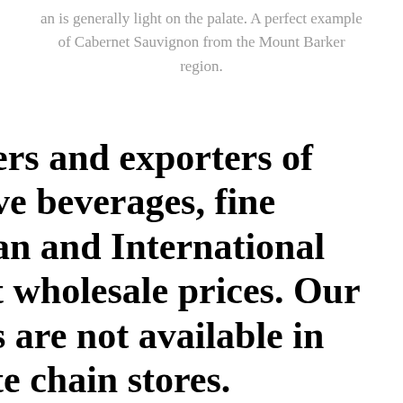an is generally light on the palate. A perfect example of Cabernet Sauvignon from the Mount Barker region.
ers and exporters of ve beverages, fine an and International t wholesale prices. Our s are not available in te chain stores.